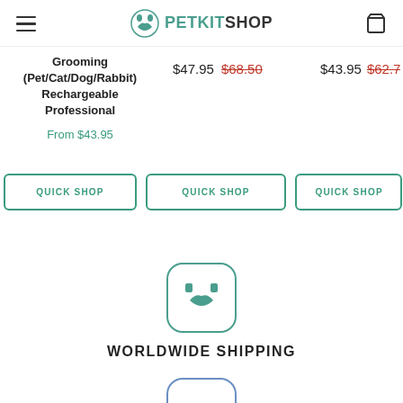PETKITSHOP navigation header with hamburger menu and cart icon
Grooming (Pet/Cat/Dog/Rabbit) Rechargeable Professional
From $43.95
$47.95  $68.50
$43.95  $62.7
QUICK SHOP
QUICK SHOP
QUICK SHOP
[Figure (logo): PetKit dog logo in rounded square, teal color]
WORLDWIDE SHIPPING
[Figure (logo): Partially visible icon in blue rounded square at bottom]